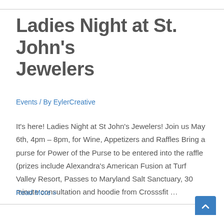Ladies Night at St. John’s Jewelers
Events / By EylerCreative
It’s here! Ladies Night at St John's Jewelers! Join us May 6th, 4pm – 8pm, for Wine, Appetizers and Raffles Bring a purse for Power of the Purse to be entered into the raffle (prizes include Alexandra's American Fusion at Turf Valley Resort, Passes to Maryland Salt Sanctuary, 30 minute consultation and hoodie from Crosssfit …
Read More »